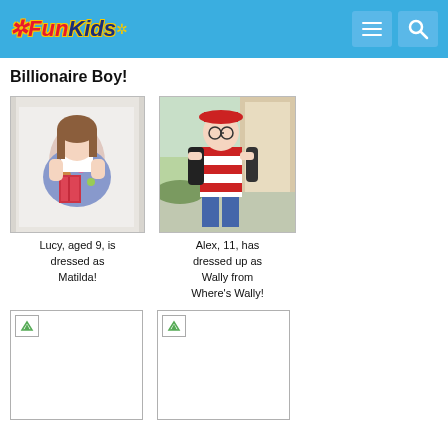Fun Kids
Billionaire Boy!
[Figure (photo): Photo of Lucy, aged 9, dressed as Matilda, holding a book, wearing floral dress]
Lucy, aged 9, is dressed as Matilda!
[Figure (photo): Photo of Alex, 11, dressed up as Wally from Where's Wally, wearing red and white striped shirt and hat with backpack]
Alex, 11, has dressed up as Wally from Where's Wally!
[Figure (photo): Placeholder image (broken image icon)]
[Figure (photo): Placeholder image (broken image icon)]